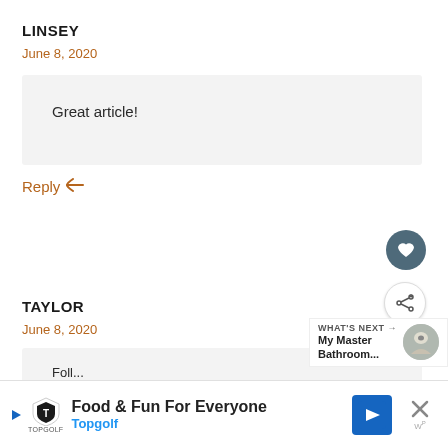LINSEY
June 8, 2020
Great article!
Reply ↩
TAYLOR
June 8, 2020
WHAT'S NEXT → My Master Bathroom...
Food & Fun For Everyone Topgolf